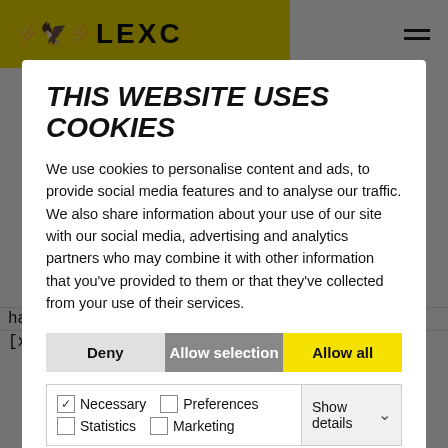[Figure (logo): LEXC website logo with wing emblem on yellow background, hamburger menu icon on right]
THIS WEBSITE USES COOKIES
We use cookies to personalise content and ads, to provide social media features and to analyse our traffic. We also share information about your use of our site with our social media, advertising and analytics partners who may combine it with other information that you've provided to them or that they've collected from your use of their services.
Deny | Allow selection | Allow all
Necessary  Preferences  Statistics  Marketing  Show details
| hash | Google | contain |
| --- | --- | --- |
| [x3] |  | visitor data. This is necessary for the security |